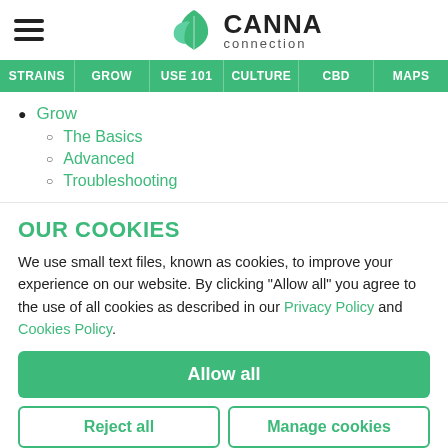[Figure (logo): CANNA connection logo with green cannabis leaf icon]
STRAINS | GROW | USE 101 | CULTURE | CBD | MAPS
Grow
The Basics
Advanced
Troubleshooting
OUR COOKIES
We use small text files, known as cookies, to improve your experience on our website. By clicking "Allow all" you agree to the use of all cookies as described in our Privacy Policy and Cookies Policy.
Allow all
Reject all
Manage cookies